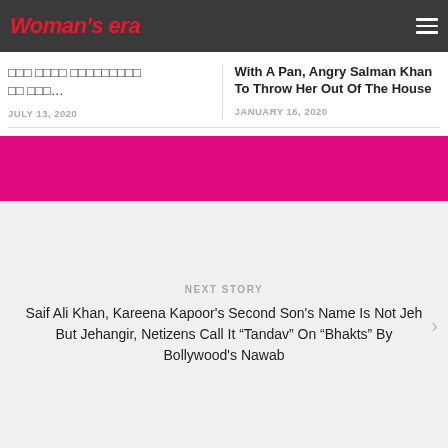Woman's era
□□□ □□□□ □□□□□□□□□ □□ □□□...
JULY 13, 2020
With A Pan, Angry Salman Khan To Throw Her Out Of The House
JANUARY 16, 2020
[Figure (other): Pink/magenta banner strip]
NEXT STORY
Saif Ali Khan, Kareena Kapoor's Second Son's Name Is Not Jeh But Jehangir, Netizens Call It “Tandav” On “Bhakts” By Bollywood's Nawab